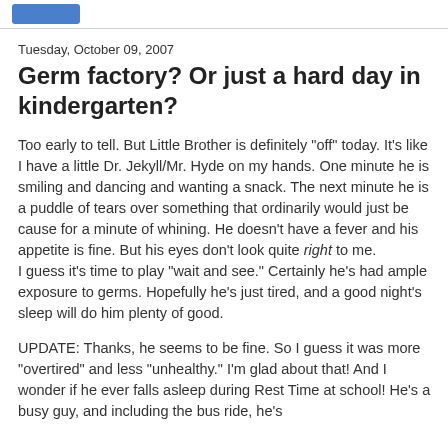Tuesday, October 09, 2007
Germ factory? Or just a hard day in kindergarten?
Too early to tell. But Little Brother is definitely "off" today. It's like I have a little Dr. Jekyll/Mr. Hyde on my hands. One minute he is smiling and dancing and wanting a snack. The next minute he is a puddle of tears over something that ordinarily would just be cause for a minute of whining. He doesn't have a fever and his appetite is fine. But his eyes don't look quite right to me.
I guess it's time to play "wait and see." Certainly he's had ample exposure to germs. Hopefully he's just tired, and a good night's sleep will do him plenty of good.
UPDATE: Thanks, he seems to be fine. So I guess it was more "overtired" and less "unhealthy." I'm glad about that! And I wonder if he ever falls asleep during Rest Time at school! He's a busy guy, and including the bus ride, he's